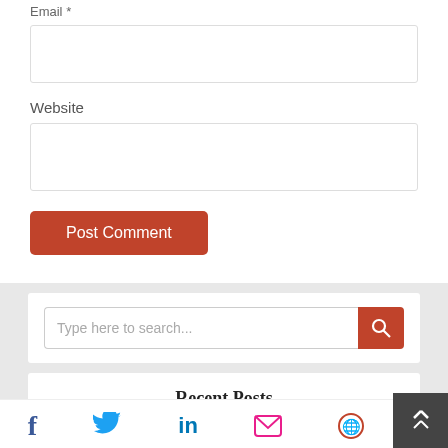Email *
Website
Post Comment
Type here to search...
Recent Posts
5 Effective Ways to Pass Exams Without Studying